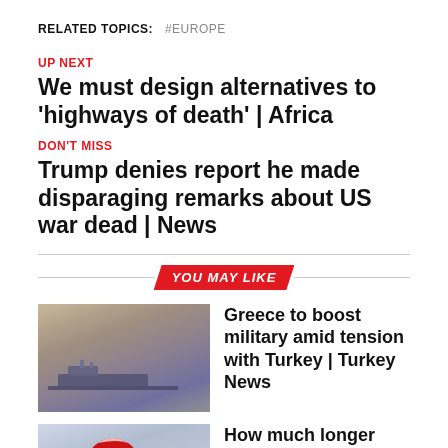RELATED TOPICS:  #EUROPE
UP NEXT
We must design alternatives to ‘highways of death’ | Africa
DON’T MISS
Trump denies report he made disparaging remarks about US war dead | News
YOU MAY LIKE
[Figure (photo): Military ships on water with hazy sky background]
Greece to boost military amid tension with Turkey | Turkey News
[Figure (photo): Person holding a red and white flag (Belarusian flag) against blue sky]
How much longer can the Belarusian president hold on? | Europe